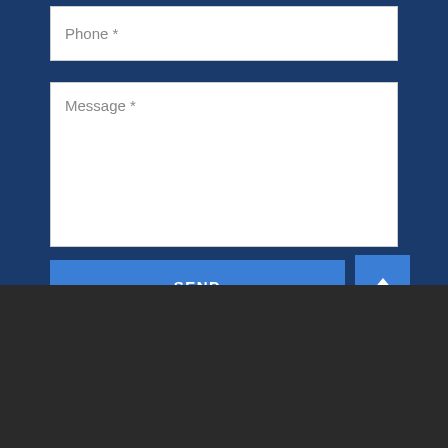Phone *
Message *
SEND
Payment Methods
We use cookies to enable essential functionality on our website, and analyze website traffic. By clicking Accept you consent to our use of cookies. Read about how we use cookies.
ACCEPT
COOKIE SETTINGS